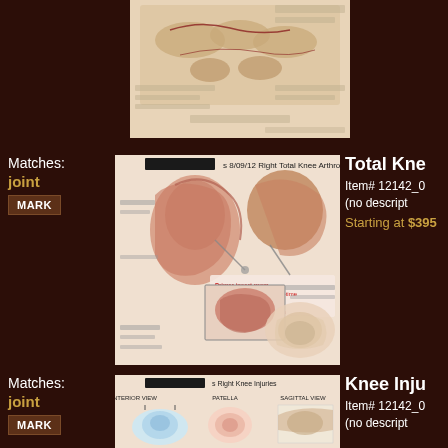[Figure (illustration): Medical illustration of foot/toe bones and anatomy, partially visible at top of page]
Matches: joint
MARK
[Figure (illustration): Medical illustration labeled 's 8/09/12 Right Total Knee Arthroplasty' showing multiple views of knee surgical procedure with red text annotations]
Total Kne
Item# 12142_0
(no descript
Starting at $395
Matches: joint
MARK
[Figure (illustration): Medical illustration labeled 's Right Knee Injuries' showing anterior view, patella, and sagittal view of knee anatomy]
Knee Inju
Item# 12142_0
(no descript